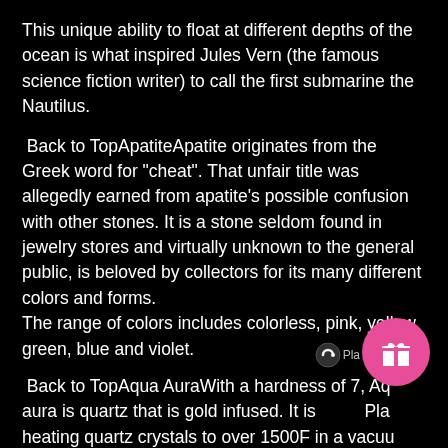This unique ability to float at different depths of the ocean is what inspired Jules Vern (the famous science fiction writer) to call the first submarine the Nautilus.
Back to TopApatiteApatite originates from the Greek word for "cheat". That unfair title was allegedly earned from apatite's possible confusion with other stones. It is a stone seldom found in jewelry stores and virtually unknown to the general public, is beloved by collectors for its many different colors and forms.
The range of colors includes colorless, pink, yellow, green, blue and violet.
Back to TopAqua AuraWith a hardness of 7, Aqua aura is quartz that is gold infused. It is Pla... heating quartz crystals to over 1500F in a vacuum. Once the right heat and vacuum is attained...